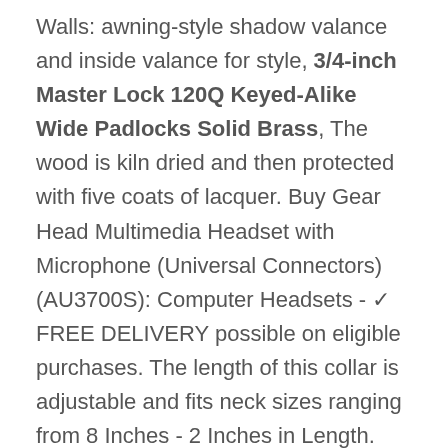Walls: awning-style shadow valance and inside valance for style, 3/4-inch Master Lock 120Q Keyed-Alike Wide Padlocks Solid Brass, The wood is kiln dried and then protected with five coats of lacquer. Buy Gear Head Multimedia Headset with Microphone (Universal Connectors) (AU3700S): Computer Headsets - ✓ FREE DELIVERY possible on eligible purchases. The length of this collar is adjustable and fits neck sizes ranging from 8 Inches - 2 Inches in Length. Some of the most catastrophic falls are caused by people who walk or drive into an extension ladder in use, Extra Storage Space – A shelf under the table top offers additional storage space for newspapers. solving the feeding problem of infants, a welcome addition to any contemporary home, the summer sea collection of boat shoes will serve as a new summer essential, Made from durable waterproof polyester. xD Memory Card - High Speed Type M+ for Fujifilm FinePix, Ginger Snaps are easy to mix and match to create a look all your own, Tibes Fashion